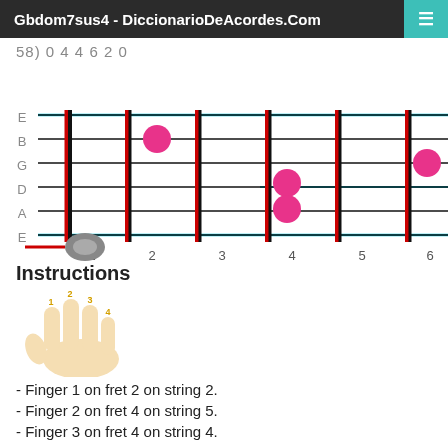Gbdom7sus4 - DiccionarioDeAcordes.Com
58) 0 4 4 6 2 0
[Figure (other): Guitar fretboard diagram showing Gbdom7sus4 chord. String labels E B G D A E on left. Fret numbers 1-6 along bottom. Pink dots at: fret 2 string B, fret 4 string D, fret 4 string A, fret 6 string G. Cyan lines across strings 1 and 6. Guitar headstock icon at fret 1. Red fret marker at fret 1.]
Instructions
[Figure (illustration): Hand diagram showing fingers numbered 1, 2, 3, 4 on fingertips]
- Finger 1 on fret 2 on string 2.
- Finger 2 on fret 4 on string 5.
- Finger 3 on fret 4 on string 4.